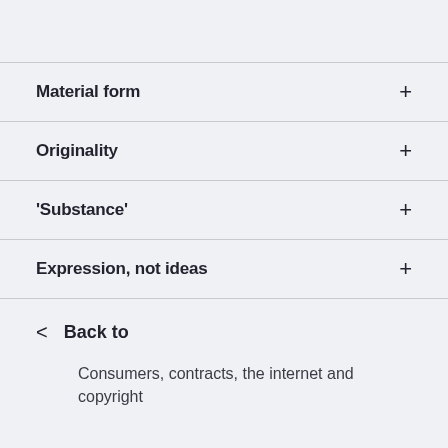Material form
Originality
‘Substance’
Expression, not ideas
< Back to
Consumers, contracts, the internet and copyright